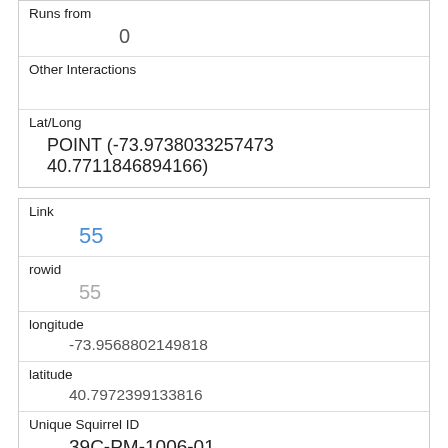| Runs from | 0 |
| Other Interactions |  |
| Lat/Long | POINT (-73.9738033257473 40.7711846894166) |
| Link | 55 |
| rowid | 55 |
| longitude | -73.9568802149818 |
| latitude | 40.7972399133816 |
| Unique Squirrel ID | 39C-PM-1006-01 |
| Hectare | 39C |
| Shift | PM |